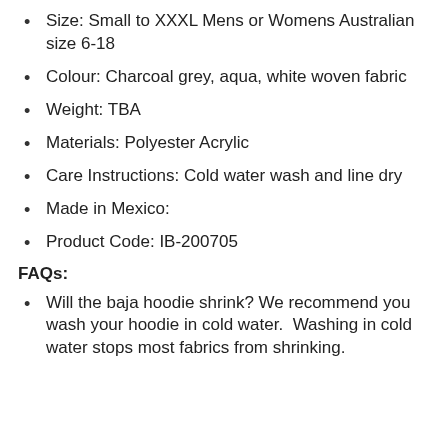Size: Small to XXXL Mens or Womens Australian size 6-18
Colour: Charcoal grey, aqua, white woven fabric
Weight: TBA
Materials: Polyester Acrylic
Care Instructions: Cold water wash and line dry
Made in Mexico:
Product Code: IB-200705
FAQs:
Will the baja hoodie shrink? We recommend you wash your hoodie in cold water.  Washing in cold water stops most fabrics from shrinking.